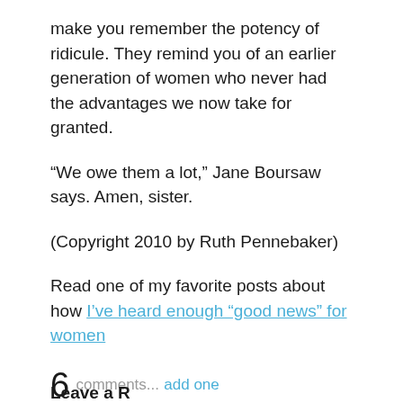make you remember the potency of ridicule.  They remind you of an earlier generation of women who never had the advantages we now take for granted.
“We owe them a lot,” Jane Boursaw says.  Amen, sister.
(Copyright 2010 by Ruth Pennebaker)
Read one of my favorite posts about how I’ve heard enough “good news” for women
6 comments... add one
Leave a R